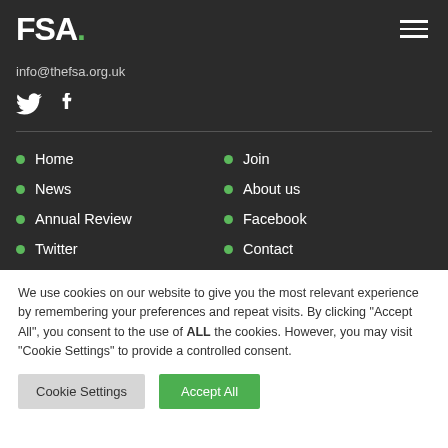FSA.
info@thefsa.org.uk
[Figure (other): Twitter and Facebook social media icons]
Home
Join
News
About us
Annual Review
Facebook
Twitter
Contact
We use cookies on our website to give you the most relevant experience by remembering your preferences and repeat visits. By clicking "Accept All", you consent to the use of ALL the cookies. However, you may visit "Cookie Settings" to provide a controlled consent.